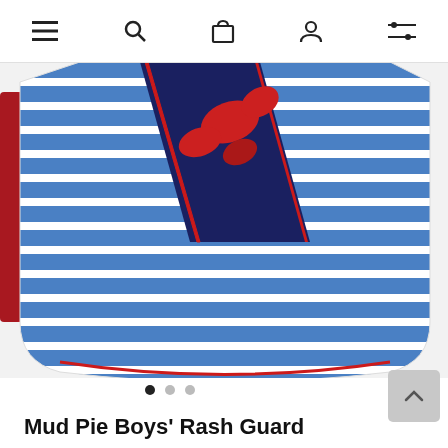Navigation bar with menu, search, cart, account, and filter icons
[Figure (photo): A children's rash guard shirt with blue and white horizontal stripes, a red lobster graphic, and navy blue accents. The item is laid flat on a white background. A red sleeve is visible on the left edge.]
Mud Pie Boys' Rash Guard
$7.99
Color: